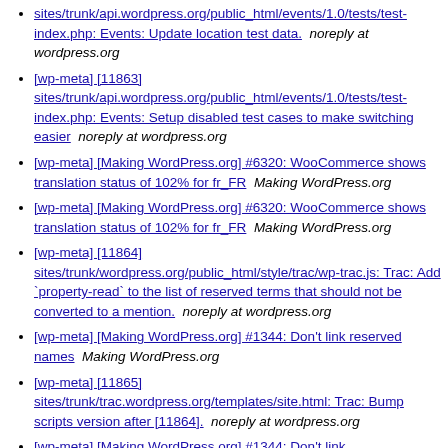sites/trunk/api.wordpress.org/public_html/events/1.0/tests/test-index.php: Events: Update location test data.  noreply at wordpress.org
[wp-meta] [11863] sites/trunk/api.wordpress.org/public_html/events/1.0/tests/test-index.php: Events: Setup disabled test cases to make switching easier  noreply at wordpress.org
[wp-meta] [Making WordPress.org] #6320: WooCommerce shows translation status of 102% for fr_FR  Making WordPress.org
[wp-meta] [Making WordPress.org] #6320: WooCommerce shows translation status of 102% for fr_FR  Making WordPress.org
[wp-meta] [11864] sites/trunk/wordpress.org/public_html/style/trac/wp-trac.js: Trac: Add `property-read` to the list of reserved terms that should not be converted to a mention.  noreply at wordpress.org
[wp-meta] [Making WordPress.org] #1344: Don't link reserved names  Making WordPress.org
[wp-meta] [11865] sites/trunk/trac.wordpress.org/templates/site.html: Trac: Bump scripts version after [11864].  noreply at wordpress.org
[wp-meta] [Making WordPress.org] #1344: Don't link